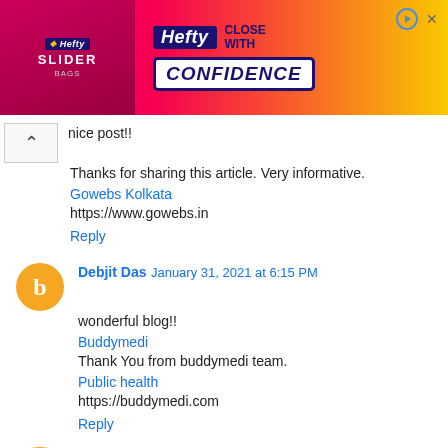[Figure (other): Hefty Slider Bags advertisement banner: pink/red/yellow gradient background, Hefty logo in blue box on left with 'SLIDER' text, right side shows 'Hefty CLOSE WITH CONFIDENCE' in blue box on white. Play button and X icons top right.]
nice post!!
Thanks for sharing this article. Very informative.
Gowebs Kolkata
https://www.gowebs.in
Reply
Debjit Das  January 31, 2021 at 6:15 PM
wonderful blog!!
Buddymedi
Thank You from buddymedi team.
Public health
https://buddymedi.com
Reply
Debjit Das  January 31, 2021 at 6:15 PM